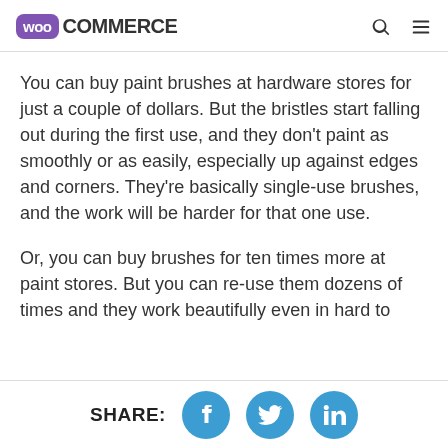WooCommerce
You can buy paint brushes at hardware stores for just a couple of dollars. But the bristles start falling out during the first use, and they don't paint as smoothly or as easily, especially up against edges and corners. They're basically single-use brushes, and the work will be harder for that one use.
Or, you can buy brushes for ten times more at paint stores. But you can re-use them dozens of times and they work beautifully even in hard to
SHARE: